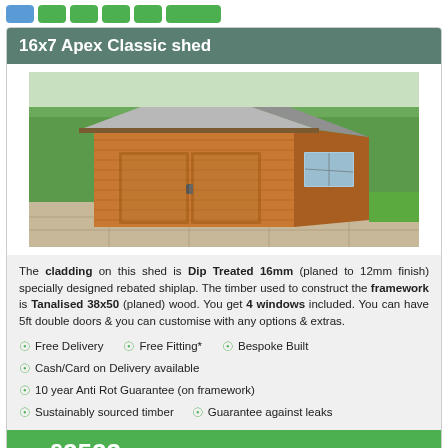navigation buttons row
16x7 Apex Classic shed
[Figure (photo): Photo of a large wooden apex shed with double doors and windows, set on a paved garden area with green lawn and trees in background. Shed is clad in orange/honey-coloured shiplap timber with a grey felt roof.]
The cladding on this shed is Dip Treated 16mm (planed to 12mm finish) specially designed rebated shiplap. The timber used to construct the framework is Tanalised 38x50 (planed) wood. You get 4 windows included. You can have 5ft double doors & you can customise with any options & extras.
Free Delivery   Free Fitting*   Bespoke Built
Cash/Card on Delivery available
10 year Anti Rot Guarantee (on framework)
Sustainably sourced timber   Guarantee against leaks
from £2523  inc VAT, Delivery & Fitting
Customize & Buy ❯